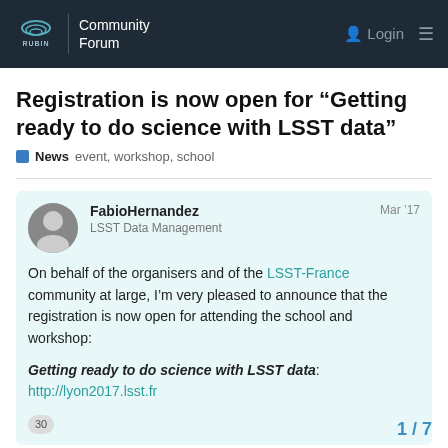RUBIN | Community Forum
Registration is now open for “Getting ready to do science with LSST data”
News   event, workshop, school
FabioHernandez   LSST Data Management   Mar '17
On behalf of the organisers and of the LSST-France community at large, I’m very pleased to announce that the registration is now open for attending the school and workshop:
Getting ready to do science with LSST data: http://lyon2017.lsst.fr
30
This is a LSSTC-sponsored event to be held in Lyon, France from June 12th to 16th, 2017.
1 / 7